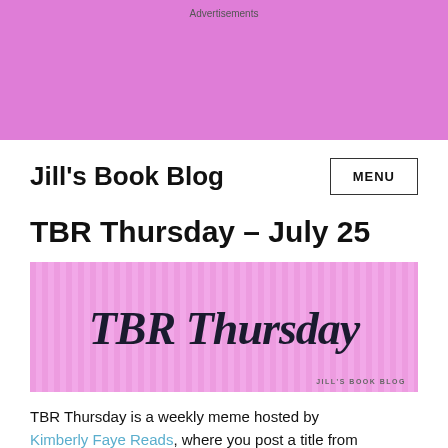Advertisements
Jill's Book Blog
TBR Thursday – July 25
[Figure (illustration): TBR Thursday banner image with pink vertical stripes background and 'TBR Thursday' in large cursive script, with 'JILL'S BOOK BLOG' credit in small caps at bottom right]
TBR Thursday is a weekly meme hosted by Kimberly Faye Reads, where you post a title from